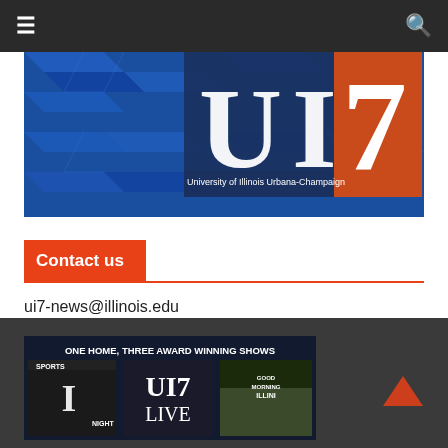≡  🔍
[Figure (logo): UI7 logo banner with blue 3D cube background, large white U and I letters, orange rectangle with white 7, and text 'University of Illinois Urbana-Champaign']
Contact us
ui7-news@illinois.edu
[Figure (infographic): Dark footer banner reading 'ONE HOME, THREE AWARD WINNING SHOWS' with three show thumbnails: Sports I Night, UI7 Live, and Good Morning Illini]